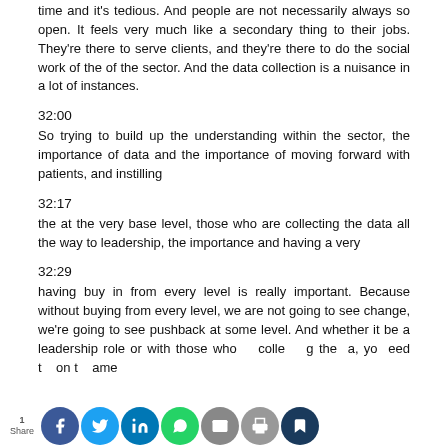time and it's tedious. And people are not necessarily always so open. It feels very much like a secondary thing to their jobs. They're there to serve clients, and they're there to do the social work of the of the sector. And the data collection is a nuisance in a lot of instances.
32:00
So trying to build up the understanding within the sector, the importance of data and the importance of moving forward with patients, and instilling
32:17
the at the very base level, those who are collecting the data all the way to leadership, the importance and having a very
32:29
having buy in from every level is really important. Because without buying from every level, we are not going to see change, we're going to see pushback at some level. And whether it be a leadership role or with those who collecting the a, you need t on t ame
1 Share [social share icons]